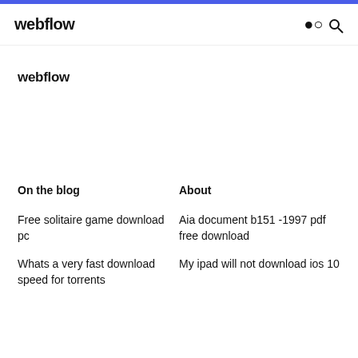webflow
webflow
On the blog
About
Free solitaire game download pc
Aia document b151 -1997 pdf free download
Whats a very fast download speed for torrents
My ipad will not download ios 10